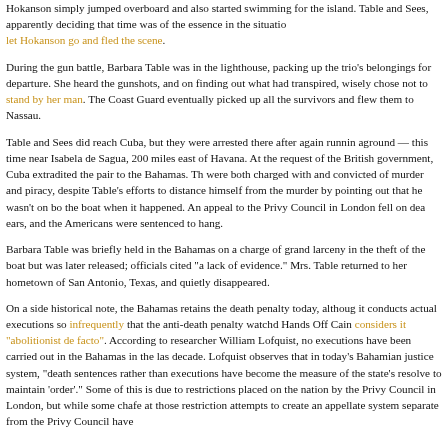Hokanson simply jumped overboard and also started swimming for the island. Table and Sees, apparently deciding that time was of the essence in the situation, let Hokanson go and fled the scene.
During the gun battle, Barbara Table was in the lighthouse, packing up the trio's belongings for departure. She heard the gunshots, and on finding out what had transpired, wisely chose not to stand by her man. The Coast Guard eventually picked up all the survivors and flew them to Nassau.
Table and Sees did reach Cuba, but they were arrested there after again running aground — this time near Isabela de Sagua, 200 miles east of Havana. At the request of the British government, Cuba extradited the pair to the Bahamas. They were both charged with and convicted of murder and piracy, despite Table's efforts to distance himself from the murder by pointing out that he wasn't on board the boat when it happened. An appeal to the Privy Council in London fell on deaf ears, and the Americans were sentenced to hang.
Barbara Table was briefly held in the Bahamas on a charge of grand larceny in the theft of the boat but was later released; officials cited "a lack of evidence." Mrs. Table returned to her hometown of San Antonio, Texas, and quietly disappeared.
On a side historical note, the Bahamas retains the death penalty today, although it conducts actual executions so infrequently that the anti-death penalty watchdog Hands Off Cain considers it "abolitionist de facto". According to researcher William Lofquist, no executions have been carried out in the Bahamas in the last decade. Lofquist observes that in today's Bahamian justice system, "death sentences rather than executions have become the measure of the state's resolve to maintain 'order'." Some of this is due to restrictions placed on the nation by the Privy Council in London, but while some chafe at those restrictions, attempts to create an appellate system separate from the Privy Council have